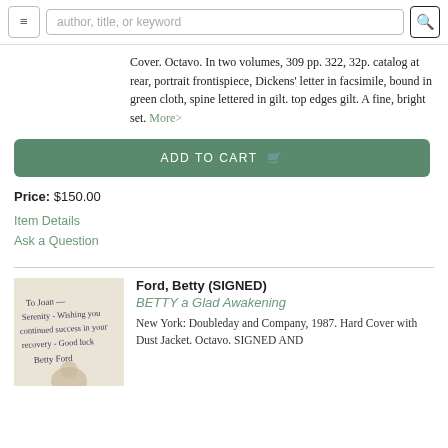author, title, or keyword
Cover. Octavo. In two volumes, 309 pp. 322, 32p. catalog at rear, portrait frontispiece, Dickens' letter in facsimile, bound in green cloth, spine lettered in gilt. top edges gilt. A fine, bright set. More>
ADD TO CART
Price: $150.00
Item Details
Ask a Question
[Figure (photo): Signed book with handwritten inscription by Betty Ford]
Ford, Betty (SIGNED)
BETTY a Glad Awakening
New York: Doubleday and Company, 1987. Hard Cover with Dust Jacket. Octavo. SIGNED AND